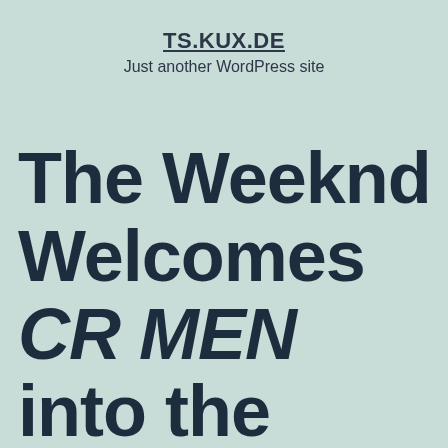TS.KUX.DE
Just another WordPress site
The Weeknd Welcomes CR MEN into the 2020s